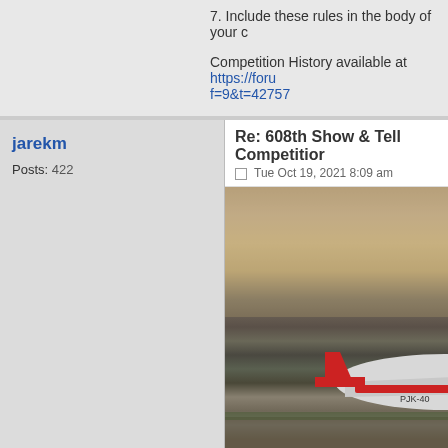7. Include these rules in the body of your c
Competition History available at https://foru f=9&t=42757
jarekm
Posts: 422
Re: 608th Show & Tell Competition
Tue Oct 19, 2021 8:09 am
[Figure (photo): A small white and red aircraft with red tail fin parked on a grassy/dirt airfield in misty/foggy morning conditions with the sun visible in the hazy sky above.]
[Figure (photo): Blue sky, top portion of a second photo, partially visible at the bottom of the page.]